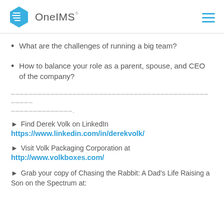OneIMS
What are the challenges of running a big team?
How to balance your role as a parent, spouse, and CEO of the company?
——————————————————————————————————————————————.
► Find Derek Volk on LinkedIn https://www.linkedin.com/in/derekvolk/
► Visit Volk Packaging Corporation at http://www.volkboxes.com/
► Grab your copy of Chasing the Rabbit: A Dad's Life Raising a Son on the Spectrum at: